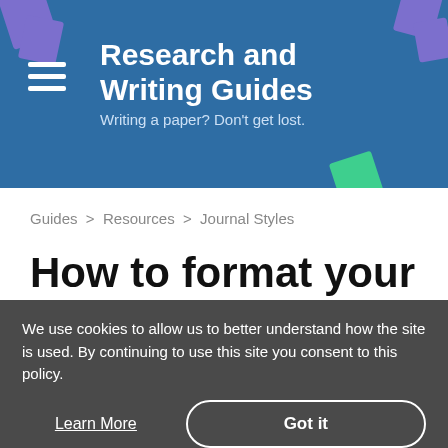Research and Writing Guides
Writing a paper? Don't get lost.
Guides > Resources > Journal Styles
How to format your references using the Computer Science Review citation style
We use cookies to allow us to better understand how the site is used. By continuing to use this site you consent to this policy.
Learn More
Got it